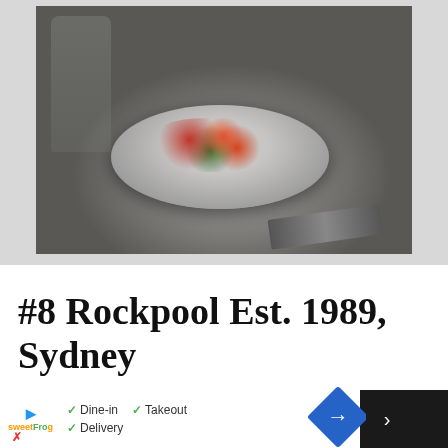[Figure (photo): A white bowl on a dark restaurant table containing a colorful plated dish with colorful vegetables and seafood, with a wine glass and cutlery visible in the background]
#8 Rockpool Est. 1989, Sydney
✓ Dine-in  ✓ Takeout  ✓ Delivery